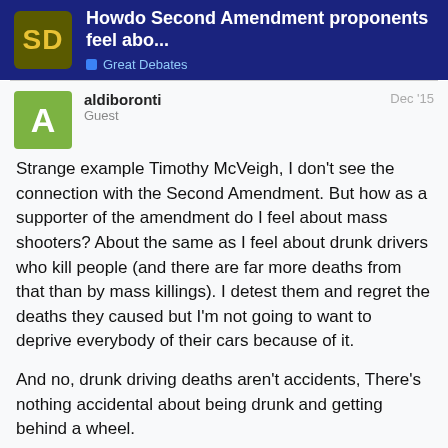Howdo Second Amendment proponents feel abo... | Great Debates
aldiboronti
Guest
Dec '15
Strange example Timothy McVeigh, I don't see the connection with the Second Amendment. But how as a supporter of the amendment do I feel about mass shooters? About the same as I feel about drunk drivers who kill people (and there are far more deaths from that than by mass killings). I detest them and regret the deaths they caused but I'm not going to want to deprive everybody of their cars because of it.

And no, drunk driving deaths aren't accidents, There's nothing accidental about being drunk and getting behind a wheel.
CarnalK   21 / 58